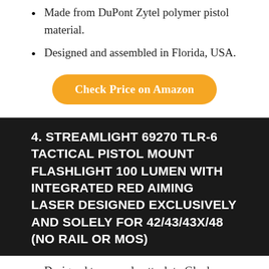Made from DuPont Zytel polymer pistol material.
Designed and assembled in Florida, USA.
Check Price on Amazon
4. STREAMLIGHT 69270 TLR-6 TACTICAL PISTOL MOUNT FLASHLIGHT 100 LUMEN WITH INTEGRATED RED AIMING LASER DESIGNED EXCLUSIVELY AND SOLELY FOR 42/43/43X/48 (NO RAIL OR MOS)
Designed to securely attach to Glock 42/43/43X/48 (No Rail or MOS) Specifically
Not Compatible with Glock 43X MOS, Glock 48 MOS, Glock 43X w/ Factory Rail and Glock 48 w/Factory Rail handguns.
C4 LED illuminator and a 640-660nm red laser